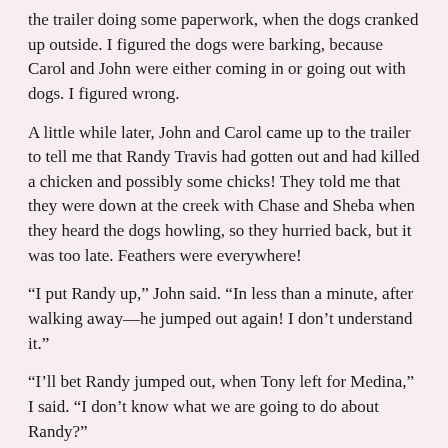the trailer doing some paperwork, when the dogs cranked up outside. I figured the dogs were barking, because Carol and John were either coming in or going out with dogs. I figured wrong.
A little while later, John and Carol came up to the trailer to tell me that Randy Travis had gotten out and had killed a chicken and possibly some chicks! They told me that they were down at the creek with Chase and Sheba when they heard the dogs howling, so they hurried back, but it was too late. Feathers were everywhere!
“I put Randy up,” John said. “In less than a minute, after walking away—he jumped out again! I don’t understand it.”
“I’ll bet Randy jumped out, when Tony left for Medina,” I said. “I don’t know what we are going to do about Randy?”
“I have a great chicken coop,” Carol said. “Why don’t we try to catch the chicks, and I’ll take them to my ranch?”
That sounded good to John and me, so the three of us took off to find the chicks. I suggested that we use our gigantic elephant net to catch them, but that wasn’t such a good idea—because the chicks